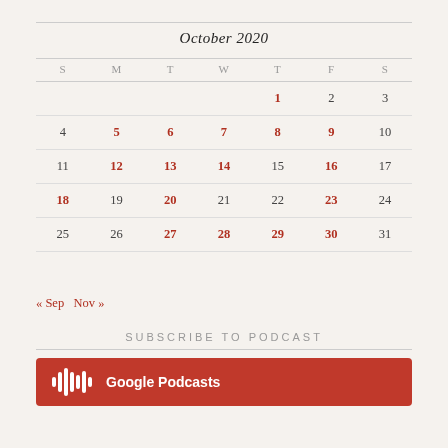October 2020
| S | M | T | W | T | F | S |
| --- | --- | --- | --- | --- | --- | --- |
|  |  |  |  | 1 | 2 | 3 |
| 4 | 5 | 6 | 7 | 8 | 9 | 10 |
| 11 | 12 | 13 | 14 | 15 | 16 | 17 |
| 18 | 19 | 20 | 21 | 22 | 23 | 24 |
| 25 | 26 | 27 | 28 | 29 | 30 | 31 |
« Sep   Nov »
SUBSCRIBE TO PODCAST
[Figure (logo): Google Podcasts button — red rectangle with podcast bars icon and 'Google Podcasts' text in white]